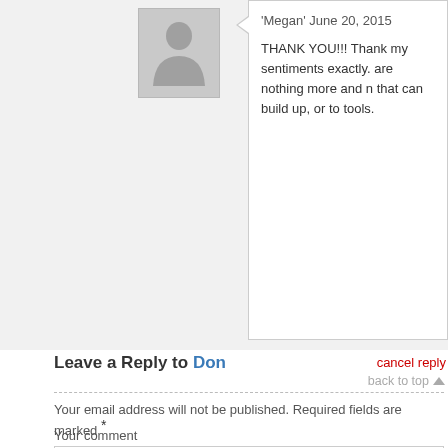[Figure (illustration): Gray placeholder avatar silhouette image]
'Megan' June 20, 2015
THANK YOU!!! Thank my sentiments exactly. are nothing more and n that can build up, or to tools.
Leave a Reply to Don
cancel reply
back to top
Your email address will not be published. Required fields are marked *
Your comment